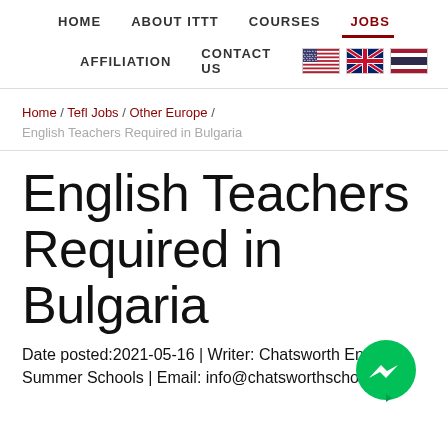HOME   ABOUT ITTT   COURSES   JOBS   AFFILIATION   CONTACT US
Home / Tefl Jobs / Other Europe / English Teachers Required in Bulgaria
English Teachers Required in Bulgaria
Date posted:2021-05-16 | Writer: Chatsworth English Summer Schools | Email: info@chatsworthschool.com